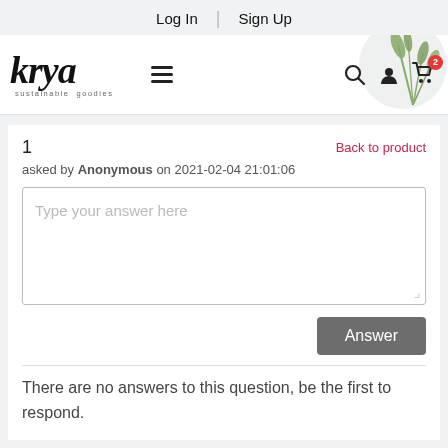Log In | Sign Up
[Figure (logo): Krya sustainable goodies logo with hamburger menu, search, user, and cart icons]
1
Back to product
asked by Anonymous on 2021-02-04 21:01:06
Type your answer here
Answer
There are no answers to this question, be the first to respond.